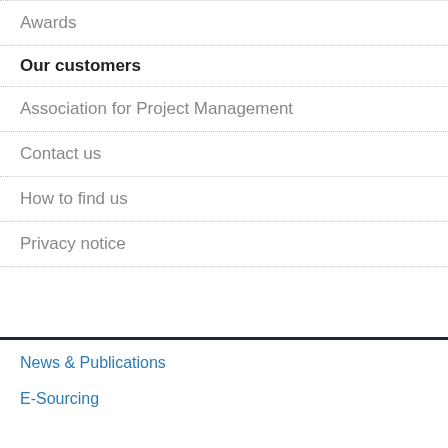Awards
Our customers
Association for Project Management
Contact us
How to find us
Privacy notice
News & Publications
E-Sourcing